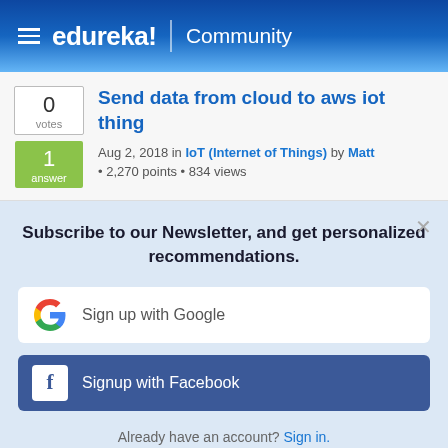edureka! Community
Send data from cloud to aws iot thing
Aug 2, 2018 in IoT (Internet of Things) by Matt • 2,270 points • 834 views
Subscribe to our Newsletter, and get personalized recommendations.
Sign up with Google
Signup with Facebook
Already have an account? Sign in.